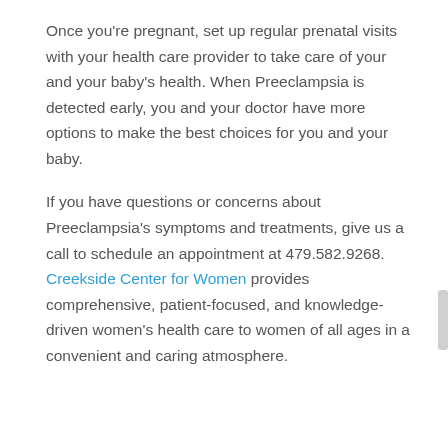Once you're pregnant, set up regular prenatal visits with your health care provider to take care of your and your baby's health. When Preeclampsia is detected early, you and your doctor have more options to make the best choices for you and your baby.
If you have questions or concerns about Preeclampsia's symptoms and treatments, give us a call to schedule an appointment at 479.582.9268. Creekside Center for Women provides comprehensive, patient-focused, and knowledge-driven women's health care to women of all ages in a convenient and caring atmosphere.